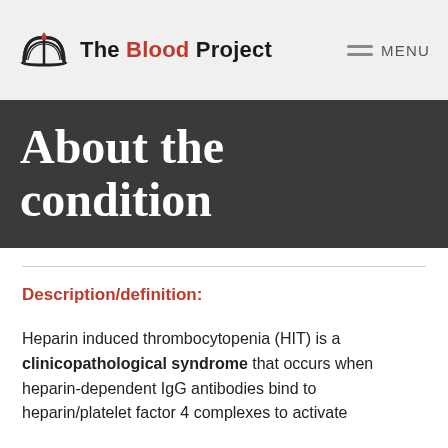The Blood Project — MENU
About the condition
Description/definition:
Heparin induced thrombocytopenia (HIT) is a clinicopathological syndrome that occurs when heparin-dependent IgG antibodies bind to heparin/platelet factor 4 complexes to activate